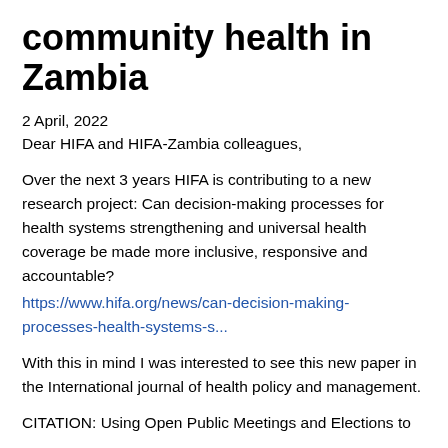community health in Zambia
2 April, 2022
Dear HIFA and HIFA-Zambia colleagues,
Over the next 3 years HIFA is contributing to a new research project: Can decision-making processes for health systems strengthening and universal health coverage be made more inclusive, responsive and accountable? https://www.hifa.org/news/can-decision-making-processes-health-systems-s...
With this in mind I was interested to see this new paper in the International journal of health policy and management.
CITATION: Using Open Public Meetings and Elections to